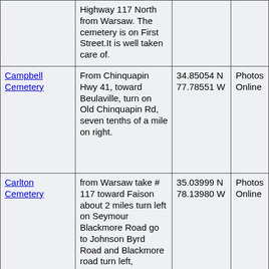| Cemetery | Directions | Coordinates | Photos |
| --- | --- | --- | --- |
|  | Highway 117 North from Warsaw. The cemetery is on First Street.It is well taken care of. |  |  |
| Campbell Cemetery | From Chinquapin Hwy 41, toward Beulaville, turn on Old Chinquapin Rd, seven tenths of a mile on right. | 34.85054 N 77.78551 W | Photos Online |
| Carlton Cemetery | from Warsaw take # 117 toward Faison about 2 miles turn left on Seymour Blackmore Road go to Johnson Byrd Road and Blackmore road turn left, Cemetery is app 3-4 miles on left. | 35.03999 N 78.13980 W | Photos Online |
|  |  |  |  |